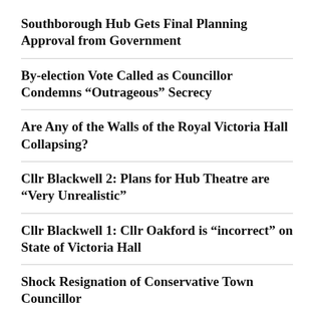Southborough Hub Gets Final Planning Approval from Government
By-election Vote Called as Councillor Condemns “Outrageous” Secrecy
Are Any of the Walls of the Royal Victoria Hall Collapsing?
Cllr Blackwell 2: Plans for Hub Theatre are “Very Unrealistic”
Cllr Blackwell 1: Cllr Oakford is “incorrect” on State of Victoria Hall
Shock Resignation of Conservative Town Councillor